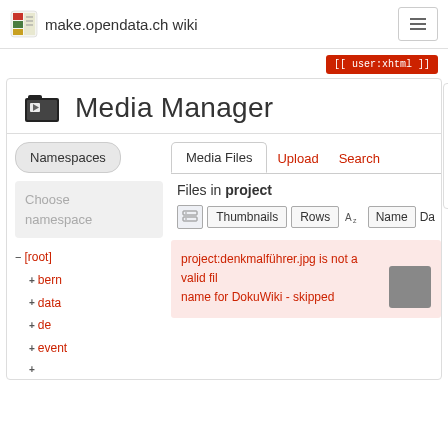make.opendata.ch wiki
[[ user:xhtml ]]
Media Manager
Namespaces
Choose namespace
- [root]
+ bern
+ data
+ de
+ event
Media Files | Upload | Search
Files in project
Thumbnails  Rows  Name  Da
project:denkmalführer.jpg is not a valid file name for DokuWiki - skipped